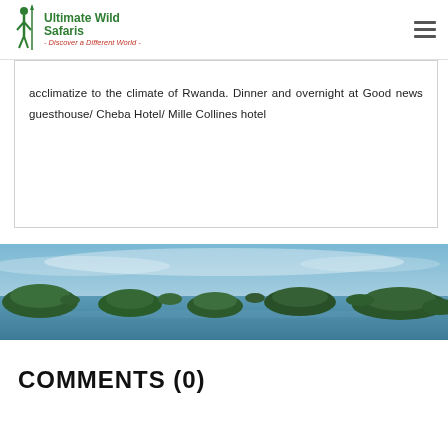Ultimate Wild Safaris - Discover a Different World -
acclimatize to the climate of Rwanda. Dinner and overnight at Good news guesthouse/ Cheba Hotel/ Mille Collines hotel
[Figure (photo): Aerial landscape photo of a lake with forested islands under misty blue-green sky in Rwanda]
COMMENTS (0)